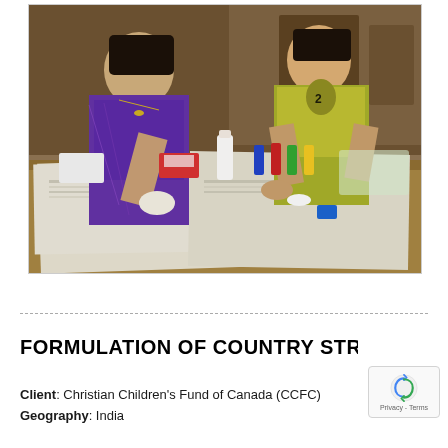[Figure (photo): A woman in a purple saree and a boy in a yellow-green shirt sit at a wooden table covered with newspapers, engaged in what appears to be a health screening or craft activity with small bottles and materials.]
FORMULATION OF COUNTRY STRAT
Client: Christian Children's Fund of Canada (CCFC)
Geography: India